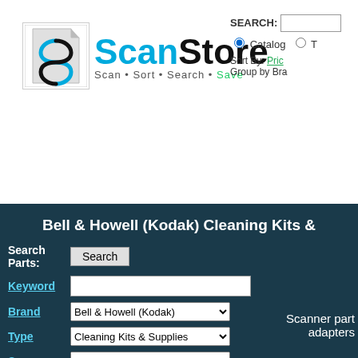[Figure (logo): ScanStore logo with stylized S icon and tagline: Scan · Sort · Search · Save]
SEARCH: [input] Catalog [radio] Sort By: Price Group by Brand
Bell & Howell (Kodak) Cleaning Kits &
Search Parts: [Search button] Keyword [input] Brand Bell & Howell (Kodak) Type Cleaning Kits & Supplies Scanner ANY
Scanner part adapters
[Figure (screenshot): Facebook and Twitter social media icons]
MENU
> HOME
> SCANNERS
> SOFTWARE
> PARTS
Bell &
Glass Cleaner (4 oz.)
Part # KIT-CONSUMABLE-CLEAN Bell & Howell (Kodak) Glass Cleaner (4
Pack of 25 Skimmer Sheets (Paper/En Kit)